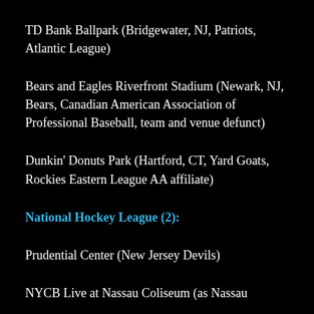TD Bank Ballpark (Bridgewater, NJ, Patriots, Atlantic League)
Bears and Eagles Riverfront Stadium (Newark, NJ, Bears, Canadian American Association of Professional Baseball, team and venue defunct)
Dunkin' Donuts Park (Hartford, CT, Yard Goats, Rockies Eastern League AA affiliate)
National Hockey League (2):
Prudential Center (New Jersey Devils)
NYCB Live at Nassau Coliseum (as Nassau